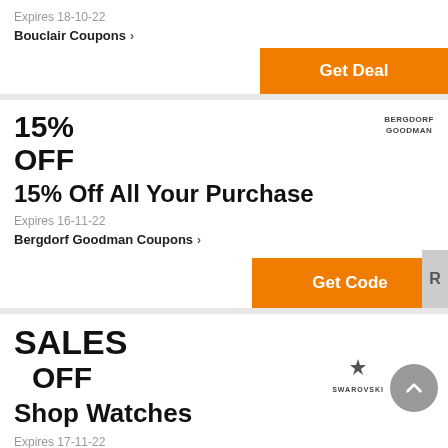Expires 18-10-22
Bouclair Coupons ›
Get Deal
15%
OFF
15% Off All Your Purchase
Expires 16-11-22
Bergdorf Goodman Coupons ›
Get Code
SALES
OFF
Shop Watches
Expires 17-11-22
Swarovski Coupons ›
Get Deal